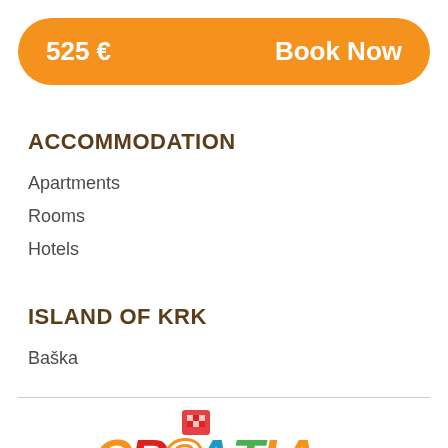525 €   Book Now
ACCOMMODATION
Apartments
Rooms
Hotels
ISLAND OF KRK
Baška
[Figure (logo): Croatia tourism colorful logo with red, orange, green and blue letters spelling CROATIA]